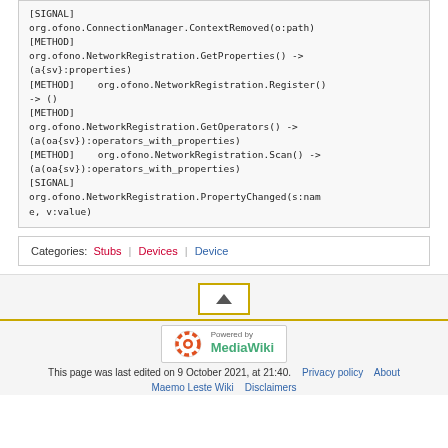[SIGNAL]
org.ofono.ConnectionManager.ContextRemoved(o:path)
[METHOD]
org.ofono.NetworkRegistration.GetProperties() -> (a{sv}:properties)
[METHOD]    org.ofono.NetworkRegistration.Register() -> ()
[METHOD]
org.ofono.NetworkRegistration.GetOperators() -> (a(oa{sv}):operators_with_properties)
[METHOD]    org.ofono.NetworkRegistration.Scan() -> (a(oa{sv}):operators_with_properties)
[SIGNAL]
org.ofono.NetworkRegistration.PropertyChanged(s:name, v:value)
Categories: Stubs | Devices | Device
[Figure (other): Back to top button with upward-pointing triangle arrow]
[Figure (logo): Powered by MediaWiki badge/logo]
This page was last edited on 9 October 2021, at 21:40.   Privacy policy   About   Maemo Leste Wiki   Disclaimers